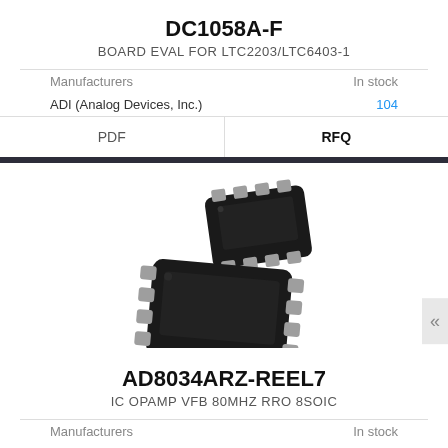DC1058A-F
BOARD EVAL FOR LTC2203/LTC6403-1
| Manufacturers | In stock |
| --- | --- |
| ADI (Analog Devices, Inc.) | 104 |
PDF | RFQ
[Figure (photo): Two SOIC-8 integrated circuit chips shown from above at an angle — one smaller chip on top and one larger chip below, both black with silver pins]
AD8034ARZ-REEL7
IC OPAMP VFB 80MHZ RRO 8SOIC
| Manufacturers | In stock |
| --- | --- |
| ADI (Analog Devices, Inc.) | 11314 |
PDF | RFQ